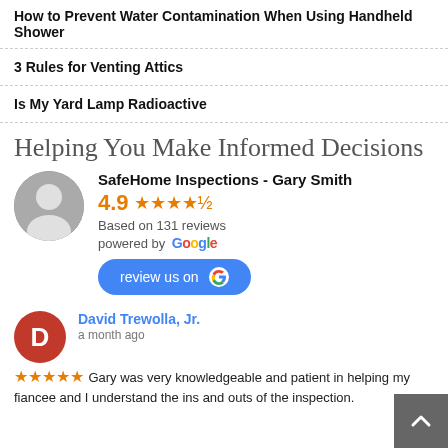How to Prevent Water Contamination When Using Handheld Shower
3 Rules for Venting Attics
Is My Yard Lamp Radioactive
Helping You Make Informed Decisions
SafeHome Inspections - Gary Smith
4.9 ★★★★½
Based on 131 reviews
powered by Google
review us on G
David Trewolla, Jr.
a month ago
★★★★★ Gary was very knowledgeable and patient in helping my fiancee and I understand the ins and outs of the inspection.